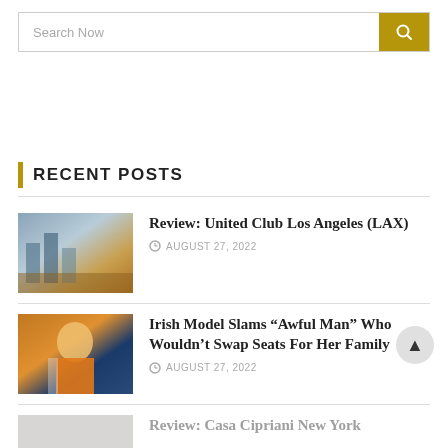[Figure (screenshot): Search bar with 'Search Now' placeholder text and gold search button with magnifying glass icon]
RECENT POSTS
[Figure (photo): Thumbnail photo of United Club lounge at LAX airport]
Review: United Club Los Angeles (LAX)
AUGUST 27, 2022
[Figure (photo): Thumbnail photo of Irish model in orange outfit]
Irish Model Slams “Awful Man” Who Wouldn’t Swap Seats For Her Family
AUGUST 27, 2022
[Figure (photo): Partially visible thumbnail for Review: Casa Cipriani New York post]
Review: Casa Cipriani New York